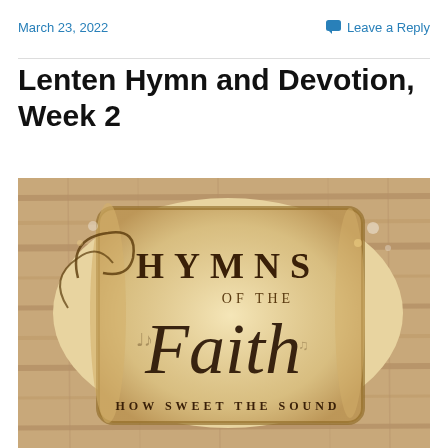March 23, 2022
Leave a Reply
Lenten Hymn and Devotion, Week 2
[Figure (illustration): Decorative image showing a parchment scroll on a wooden background with the text 'HYMNS OF THE Faith HOW SWEET THE SOUND']